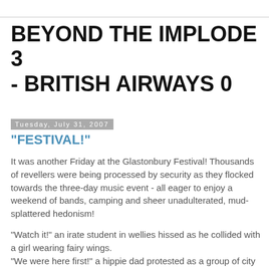BEYOND THE IMPLODE 3 - BRITISH AIRWAYS 0
Tuesday, July 31, 2007
"FESTIVAL!"
It was another Friday at the Glastonbury Festival! Thousands of revellers were being processed by security as they flocked towards the three-day music event - all eager to enjoy a weekend of bands, camping and sheer unadulterated, mud-splattered hedonism!
"Watch it!" an irate student in wellies hissed as he collided with a girl wearing fairy wings.
"We were here first!" a hippie dad protested as a group of city boys with corporate tickets barged past his wife and kids.
"Let me through! Please! I need the toilet!" an Editors fan wailed, dancing on the spot and clutching at his crotch!